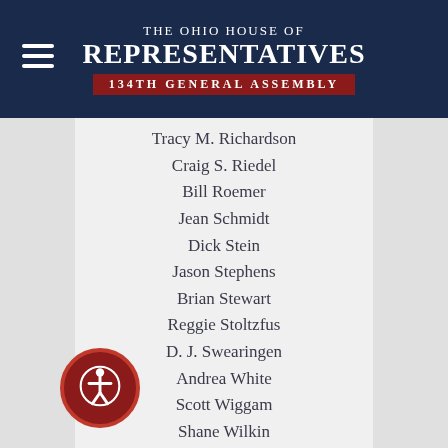The Ohio House of Representatives 134th General Assembly
Tracy M. Richardson
Craig S. Riedel
Bill Roemer
Jean Schmidt
Dick Stein
Jason Stephens
Brian Stewart
Reggie Stoltzfus
D. J. Swearingen
Andrea White
Scott Wiggam
Shane Wilkin
Tom Young
S E N A T O R S
Niraj Antani
Louis W. Blessing, III
Andrew O. B...